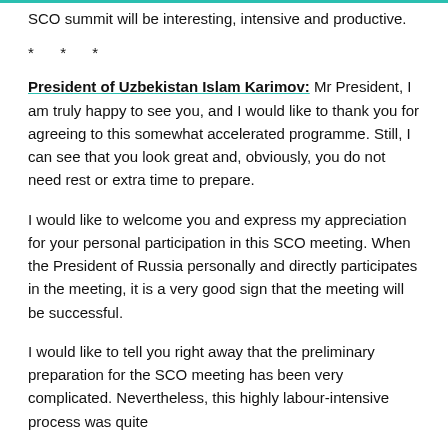SCO summit will be interesting, intensive and productive.
* * *
President of Uzbekistan Islam Karimov: Mr President, I am truly happy to see you, and I would like to thank you for agreeing to this somewhat accelerated programme. Still, I can see that you look great and, obviously, you do not need rest or extra time to prepare.
I would like to welcome you and express my appreciation for your personal participation in this SCO meeting. When the President of Russia personally and directly participates in the meeting, it is a very good sign that the meeting will be successful.
I would like to tell you right away that the preliminary preparation for the SCO meeting has been very complicated. Nevertheless, this highly labour-intensive process was quite